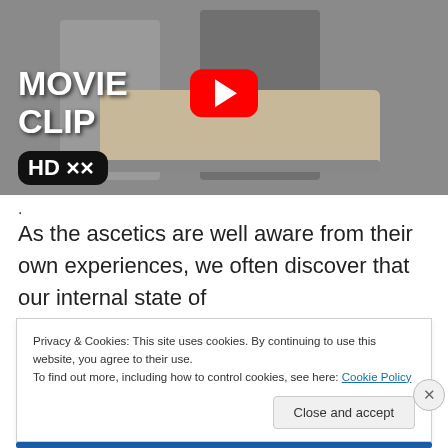[Figure (screenshot): YouTube video thumbnail showing a movie clip in HD. Scene shows medical/caregiving scenario with people around a hospital bed. Overlaid text reads 'MOVIE CLIP' in white bold letters, a YouTube play button (red), and an HD badge in black rounded rectangle at bottom left.]
.
As the ascetics are well aware from their own experiences, we often discover that our internal state of
Privacy & Cookies: This site uses cookies. By continuing to use this website, you agree to their use.
To find out more, including how to control cookies, see here: Cookie Policy
Close and accept